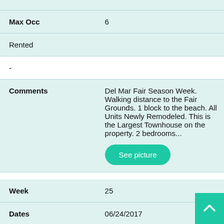| Field | Value |
| --- | --- |
| Max Occ | 6 |
| Rented |  |
| - |  |
| Comments | Del Mar Fair Season Week. Walking distance to the Fair Grounds. 1 block to the beach. All Units Newly Remodeled. This is the Largest Townhouse on the property. 2 bedrooms... |
| Week | 25 |
| Dates | 06/24/2017 |